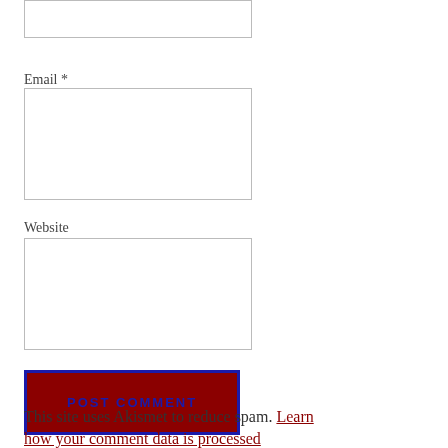[Figure (screenshot): Partial form input box at top of page (cropped, no label visible)]
Email *
[Figure (screenshot): Email input text field box]
Website
[Figure (screenshot): Website input text field box]
Post Comment (button)
This site uses Akismet to reduce spam. Learn how your comment data is processed